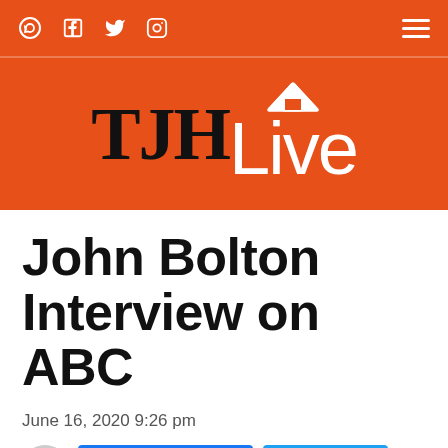TJHLive — navigation bar with social icons and hamburger menu
[Figure (logo): TJHLive logo on orange background with house icon above 'Live' text]
John Bolton Interview on ABC
June 16, 2020 9:26 pm